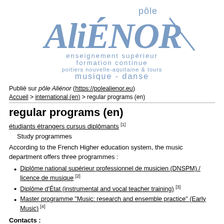[Figure (logo): Pôle Aliénor logo with stylized text and subtitle: enseignement supérieur formation continue poitiers nouvelle-aquitaine & tours musique - danse]
Publié sur pôle Aliénor (https://polealienor.eu)
Accueil > international (en) > regular programs (en)
regular programs (en)
étudiants étrangers cursus diplômants [1]
Study programmes
According to the French Higher education system, the music department offers three programmes :
Diplôme national supérieur professionnel de musicien (DNSPM) / licence de musique [2]
Diplôme d'État (instrumental and vocal teacher training) [3]
Master programme "Music: research and ensemble practice" (Early Music) [4]
Contacts :